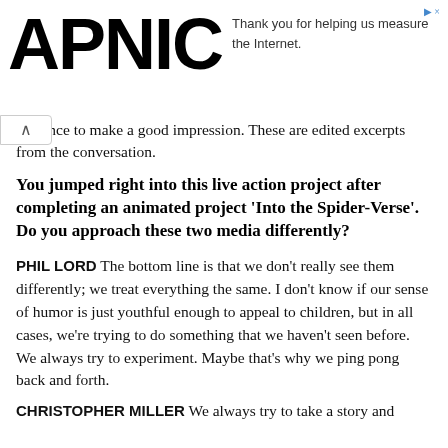[Figure (logo): APNIC logo in large bold black text]
Thank you for helping us measure the Internet.
a chance to make a good impression. These are edited excerpts from the conversation.
You jumped right into this live action project after completing an animated project ‘Into the Spider-Verse’. Do you approach these two media differently?
PHIL LORD The bottom line is that we don’t really see them differently; we treat everything the same. I don’t know if our sense of humor is just youthful enough to appeal to children, but in all cases, we’re trying to do something that we haven’t seen before. We always try to experiment. Maybe that’s why we ping pong back and forth.
CHRISTOPHER MILLER We always try to take a story and